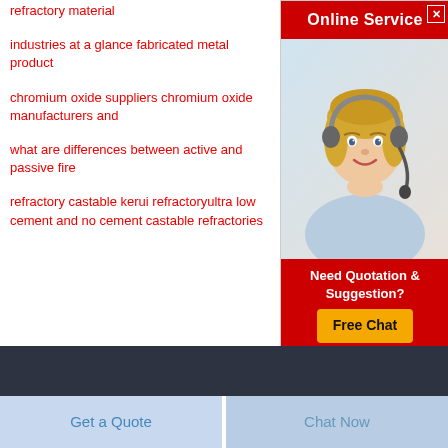refractory material
industries at a glance fabricated metal product
chromium oxide suppliers chromium oxide manufacturers and
what are differences between active and passive fire
refractory castable kerui refractoryultra low cement and no cement castable refractories
[Figure (illustration): Online Service widget with a woman wearing a headset, red header saying Online Service, red footer saying Need Quotation & Suggestion? with a yellow Free Chat button]
Get a Quote
Chat Now